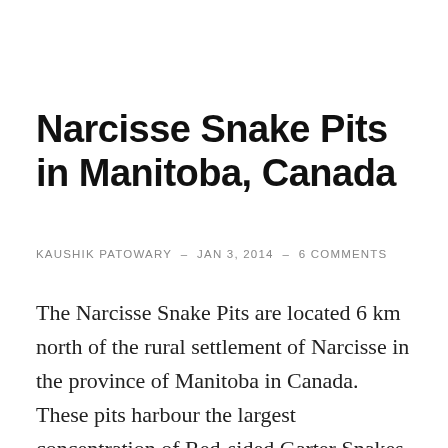Narcisse Snake Pits in Manitoba, Canada
KAUSHIK PATOWARY  –  JAN 3, 2014  –  6 COMMENTS
The Narcisse Snake Pits are located 6 km north of the rural settlement of Narcisse in the province of Manitoba in Canada. These pits harbour the largest concentration of Red-sided Garter Snakes in the world. During winter, the snakes hibernate inside subterranean caverns formed by the area's water-